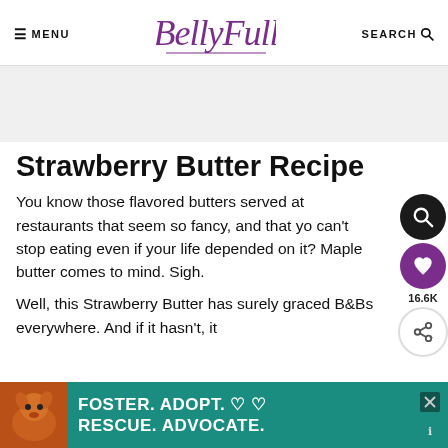≡ MENU  BellyFull  SEARCH 🔍
[Figure (other): Gray placeholder ad banner area below header]
Strawberry Butter Recipe
You know those flavored butters served at restaurants that seem so fancy, and that you can't stop eating even if your life depended on it? Maple butter comes to mind. Sigh.
Well, this Strawberry Butter has surely graced B&Bs everywhere. And if it hasn't, it should have.
[Figure (other): Bottom advertisement banner: dog image on left, teal background with text FOSTER. ADOPT. ♡ ♡ / RESCUE. ADVOCATE. with close X button]